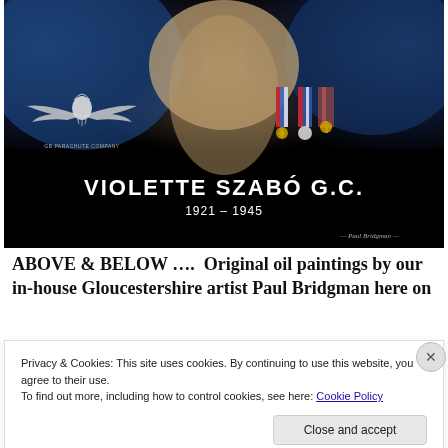[Figure (illustration): Oil painting portrait of Violette Szabó G.C. with dark background, blue tones, featuring GB Parachute Company badge/wings emblem on left, medals on right, name and dates in white text]
ABOVE & BELOW ....  Original oil paintings by our in-house Gloucestershire artist Paul Bridgman here on
Privacy & Cookies: This site uses cookies. By continuing to use this website, you agree to their use.
To find out more, including how to control cookies, see here: Cookie Policy
Close and accept